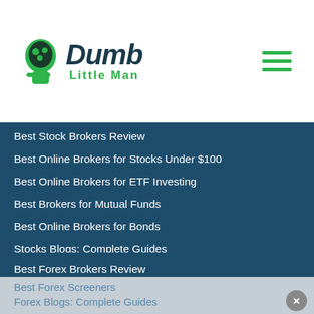Dumb Little Man
Best Stock Brokers Review
Best Online Brokers for Stocks Under $100
Best Online Brokers for ETF Investing
Best Brokers for Mutual Funds
Best Online Brokers for Bonds
Stocks Blogs: Complete Guides
Forex
Best Forex Trading Course
Best Forex Brokers Review
Best Forex Trading Software
Best Forex Indicators
Best Forex Screeners
Forex Blogs: Complete Guides